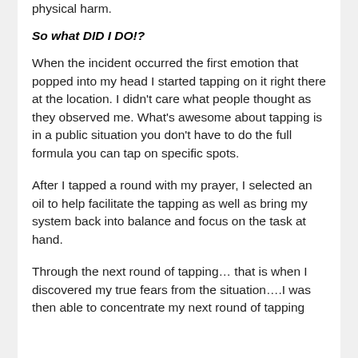physical harm.
So what DID I DO!?
When the incident occurred the first emotion that popped into my head I started tapping on it right there at the location.  I didn't care what people thought as they observed me.  What's awesome about tapping is in a public situation you don't have to do the full formula you can tap on specific spots.
After I tapped a round with my prayer, I selected an oil to help facilitate the tapping as well as bring my system back into balance and focus on the task at hand.
Through the next round of tapping… that is when I discovered my true fears from the situation….I was then able to concentrate my next round of tapping